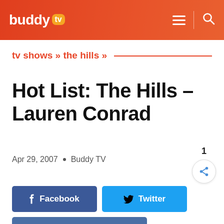buddy tv
tv shows » the hills »
Hot List: The Hills – Lauren Conrad
Apr 29, 2007 · Buddy TV
[Figure (other): Heart/like button with count 1, share button, Facebook button, Twitter button, Instagram button]
Facebook
Twitter
Instagram